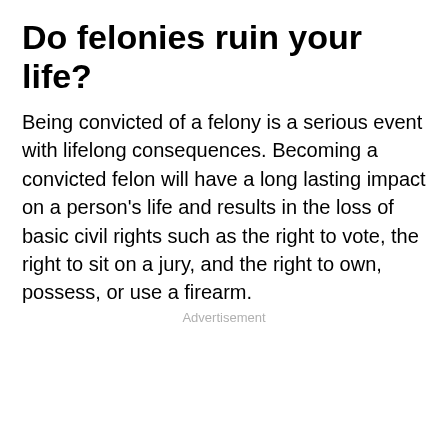Do felonies ruin your life?
Being convicted of a felony is a serious event with lifelong consequences. Becoming a convicted felon will have a long lasting impact on a person's life and results in the loss of basic civil rights such as the right to vote, the right to sit on a jury, and the right to own, possess, or use a firearm.
Advertisement